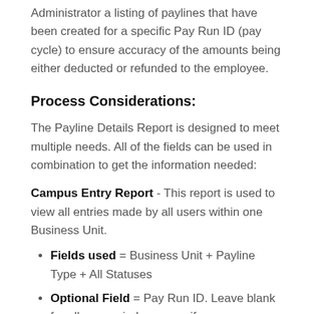Administrator a listing of paylines that have been created for a specific Pay Run ID (pay cycle) to ensure accuracy of the amounts being either deducted or refunded to the employee.
Process Considerations:
The Payline Details Report is designed to meet multiple needs. All of the fields can be used in combination to get the information needed:
Campus Entry Report - This report is used to view all entries made by all users within one Business Unit.
Fields used = Business Unit + Payline Type + All Statuses
Optional Field = Pay Run ID. Leave blank for all pay periods, or specify one.
This report has row-level security, so a user will only see entries for employees